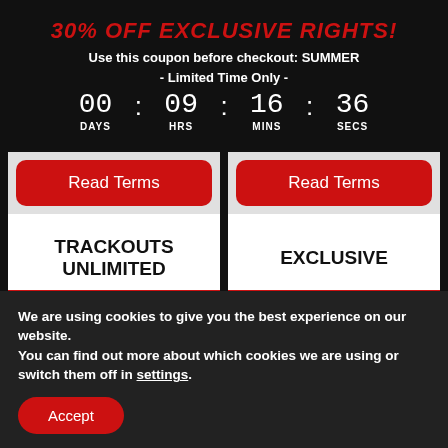30% OFF EXCLUSIVE RIGHTS!
Use this coupon before checkout: SUMMER
- Limited Time Only -
00 DAYS : 09 HRS : 16 MINS : 36 SECS
[Figure (other): Two product cards each with a red 'Read Terms' button and white body. Left card shows 'TRACKOUTS UNLIMITED', right card shows 'EXCLUSIVE'.]
We are using cookies to give you the best experience on our website.
You can find out more about which cookies we are using or switch them off in settings.
Accept